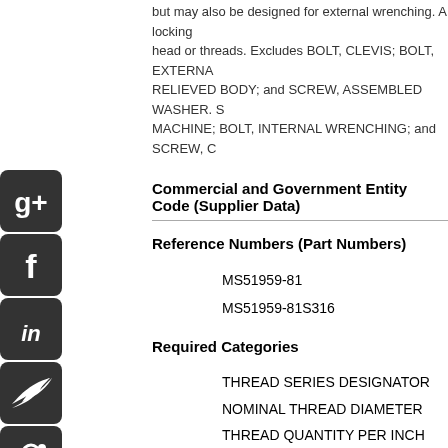but may also be designed for external wrenching. A locking head or threads. Excludes BOLT, CLEVIS; BOLT, EXTERNA RELIEVED BODY; and SCREW, ASSEMBLED WASHER. S MACHINE; BOLT, INTERNAL WRENCHING; and SCREW, C
Commercial and Government Entity Code (Supplier Data)
Reference Numbers (Part Numbers)
MS51959-81
MS51959-81S316
Required Categories
THREAD SERIES DESIGNATOR
NOMINAL THREAD DIAMETER
THREAD QUANTITY PER INCH
THR
Required Description
UNS